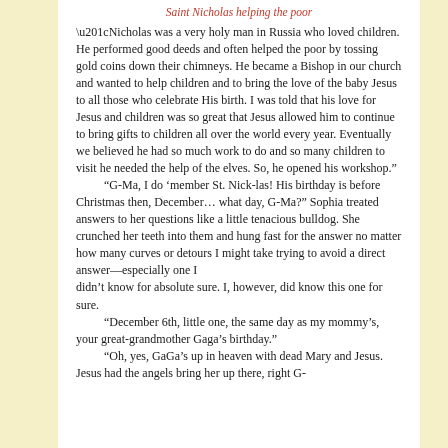Saint Nicholas helping the poor
“Nicholas was a very holy man in Russia who loved children. He performed good deeds and often helped the poor by tossing gold coins down their chimneys. He became a Bishop in our church and wanted to help children and to bring the love of the baby Jesus to all those who celebrate His birth. I was told that his love for Jesus and children was so great that Jesus allowed him to continue to bring gifts to children all over the world every year. Eventually we believed he had so much work to do and so many children to visit he needed the help of the elves. So, he opened his workshop.”
“G-Ma, I do ‘member St. Nick-las! His birthday is before Christmas then, December… what day, G-Ma?” Sophia treated answers to her questions like a little tenacious bulldog. She crunched her teeth into them and hung fast for the answer no matter how many curves or detours I might take trying to avoid a direct answer—especially one I didn’t know for absolute sure. I, however, did know this one for sure.
“December 6th, little one, the same day as my mommy’s, your great-grandmother Gaga’s birthday.”
“Oh, yes, GaGa’s up in heaven with dead Mary and Jesus. Jesus had the angels bring her up there, right G-